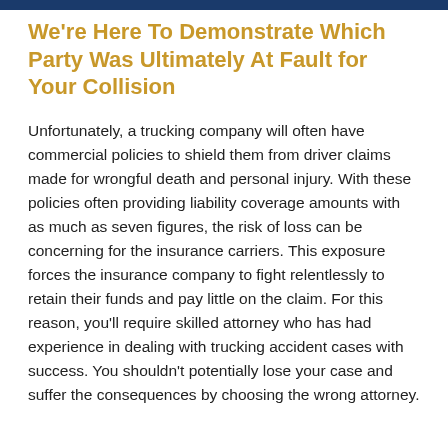We're Here To Demonstrate Which Party Was Ultimately At Fault for Your Collision
Unfortunately, a trucking company will often have commercial policies to shield them from driver claims made for wrongful death and personal injury. With these policies often providing liability coverage amounts with as much as seven figures, the risk of loss can be concerning for the insurance carriers. This exposure forces the insurance company to fight relentlessly to retain their funds and pay little on the claim. For this reason, you'll require skilled attorney who has had experience in dealing with trucking accident cases with success. You shouldn't potentially lose your case and suffer the consequences by choosing the wrong attorney.